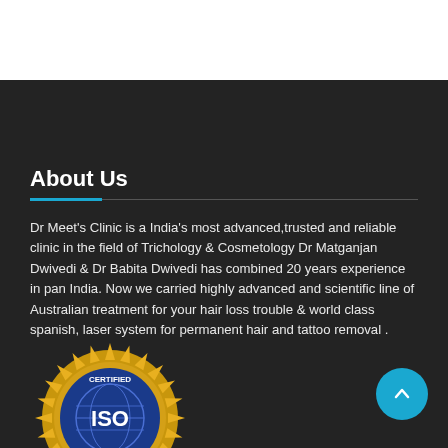About Us
Dr Meet's Clinic is a India's most advanced,trusted and reliable clinic in the field of Trichology & Cosmetology Dr Matganjan Dwivedi & Dr Babita Dwivedi has combined 20 years experience in pan India. Now we carried highly advanced and scientific line of Australian treatment for your hair loss trouble & world class spanish, laser system for permanent hair and tattoo removal .
[Figure (logo): ISO Certified badge - gold and blue circular seal with 'CERTIFIED ISO' text and globe design]